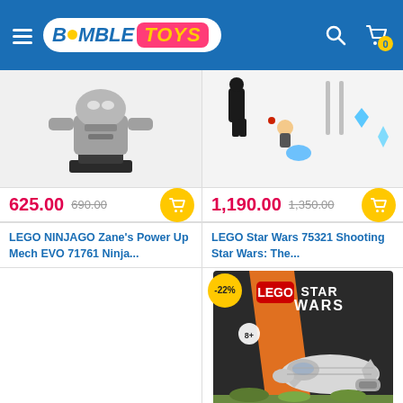BumbleToys - Online Toy Store
[Figure (screenshot): BumbleToys logo on blue header with hamburger menu, search icon, and cart icon with badge 0]
[Figure (photo): LEGO NINJAGO product partial image - robot/mech figure in gray]
625.00  690.00
LEGO NINJAGO Zane's Power Up Mech EVO 71761 Ninja...
[Figure (photo): LEGO Star Wars 75321 product partial image with minifigures and accessories]
1,190.00  1,350.00
LEGO Star Wars 75321 Shooting Star Wars: The...
450.00
[Figure (photo): LEGO Star Wars box showing Razor Crest microfighter with -22% discount badge]
349.00  450.00